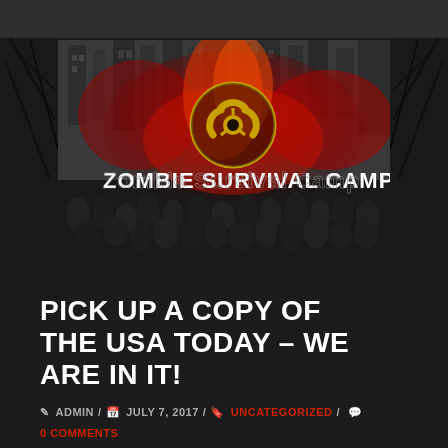[Figure (photo): Zombie Survival Camp banner image showing a crowd of zombies in a post-apocalyptic setting with red smoke/fire effects and a biohazard symbol, with 'Zombie Survival Camp' text overlaid]
PICK UP A COPY OF THE USA TODAY – WE ARE IN IT!
✎ ADMIN / 📅 JULY 7, 2017 / 🔖 UNCATEGORIZED / 💬 0 COMMENTS